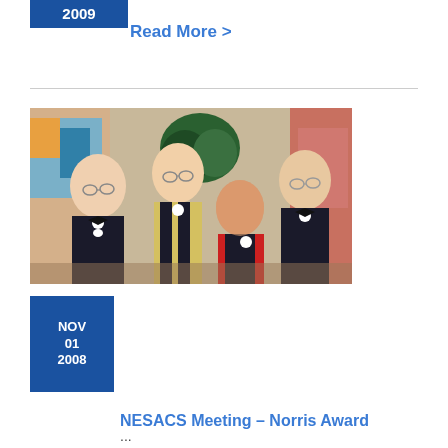2009
Read More >
[Figure (photo): Group photo of four people in formal attire (tuxedos and a saree) at an event, standing in front of artwork and a plant.]
NOV 01 2008
NESACS Meeting – Norris Award
...